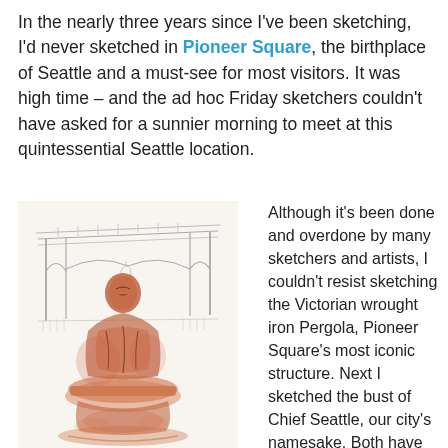In the nearly three years since I've been sketching, I'd never sketched in Pioneer Square, the birthplace of Seattle and a must-see for most visitors. It was high time – and the ad hoc Friday sketchers couldn't have asked for a sunnier morning to meet at this quintessential Seattle location.
[Figure (illustration): Ink and watercolor sketch of the Victorian wrought iron Pergola in Pioneer Square with a bust of Chief Seattle in the foreground, done in red-brown ink wash and pencil.]
Although it's been done and overdone by many sketchers and artists, I couldn't resist sketching the Victorian wrought iron Pergola, Pioneer Square's most iconic structure. Next I sketched the bust of Chief Seattle, our city's namesake. Both have been in Pioneer Square Park since 1909.
With the historical icons taken care of, I spent the